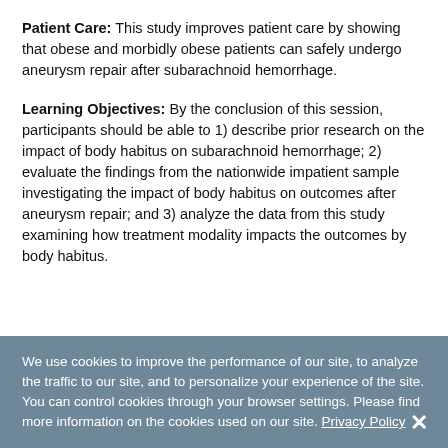Patient Care: This study improves patient care by showing that obese and morbidly obese patients can safely undergo aneurysm repair after subarachnoid hemorrhage.
Learning Objectives: By the conclusion of this session, participants should be able to 1) describe prior research on the impact of body habitus on subarachnoid hemorrhage; 2) evaluate the findings from the nationwide impatient sample investigating the impact of body habitus on outcomes after aneurysm repair; and 3) analyze the data from this study examining how treatment modality impacts the outcomes by body habitus.
We use cookies to improve the performance of our site, to analyze the traffic to our site, and to personalize your experience of the site. You can control cookies through your browser settings. Please find more information on the cookies used on our site. Privacy Policy